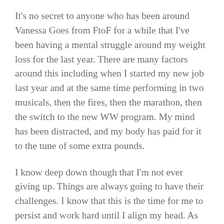It's no secret to anyone who has been around Vanessa Goes from FtoF for a while that I've been having a mental struggle around my weight loss for the last year. There are many factors around this including when I started my new job last year and at the same time performing in two musicals, then the fires, then the marathon, then the switch to the new WW program. My mind has been distracted, and my body has paid for it to the tune of some extra pounds.
I know deep down though that I'm not ever giving up. Things are always going to have their challenges. I know that this is the time for me to persist and work hard until I align my head. As long as I keep trying, I'm better than if I quit.
Things have finally made a turn for the better. I've